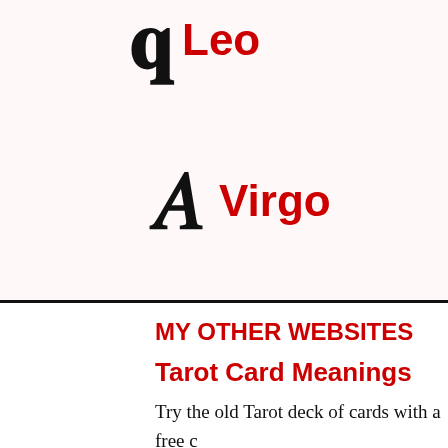[Figure (illustration): Zodiac symbol for Leo (stylized C glyph) in black with red text label 'Leo']
[Figure (illustration): Zodiac symbol for Aquarius (stylized M glyph) in black with red text label 'A' (partially visible)]
[Figure (illustration): Zodiac symbol for Virgo (stylized m with descender) in black with red text label 'Virgo']
[Figure (illustration): Zodiac symbol for Pisces (stylized fish/bracket glyph) in black with red text label 'P' (partially visible)]
MY OTHER WEBSITES
Tarot Card Meanings
Try the old Tarot deck of cards with a free c divination. How to use the Tarot and what e means.